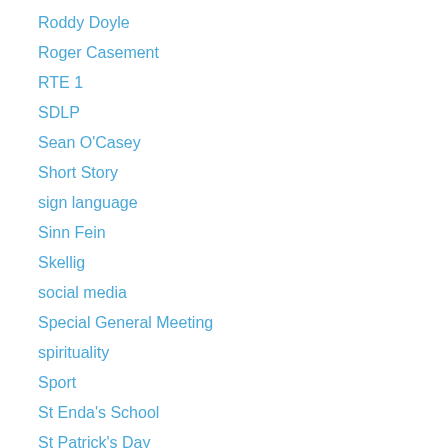Roddy Doyle
Roger Casement
RTE 1
SDLP
Sean O'Casey
Short Story
sign language
Sinn Fein
Skellig
social media
Special General Meeting
spirituality
Sport
St Enda's School
St Patrick's Day
Stormont Assembly
survivors of sexual abuse
T J Kiernan
Taoiseach
TG4